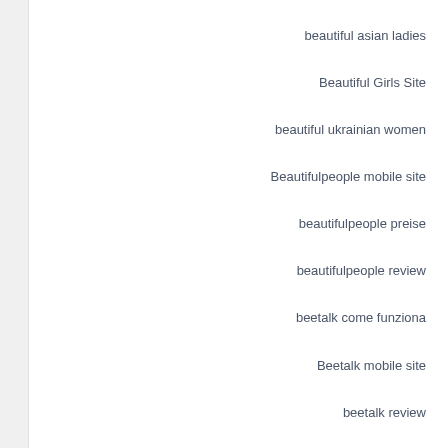beautiful asian ladies
Beautiful Girls Site
beautiful ukrainian women
Beautifulpeople mobile site
beautifulpeople preise
beautifulpeople review
beetalk come funziona
Beetalk mobile site
beetalk review